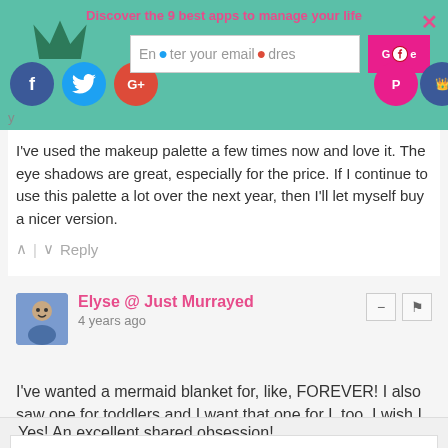Discover the 9 best apps to manage your life
I've used the makeup palette a few times now and love it. The eye shadows are great, especially for the price. If I continue to use this palette a lot over the next year, then I'll let myself buy a nicer version.
Elyse @ Just Murrayed
4 years ago
I've wanted a mermaid blanket for, like, FOREVER! I also saw one for toddlers and I want that one for L too. I wish I wore makeup because I love those mermaid palettes. I'm clearly just as obsessed with anything mermaid and unicorn
Privacy & Cookies: This site uses cookies. By continuing to use this website, you agree to their use.
To find out more, including how to control cookies, see here: Cookie Policy
Close and accept
Yes! An excellent shared obsession!